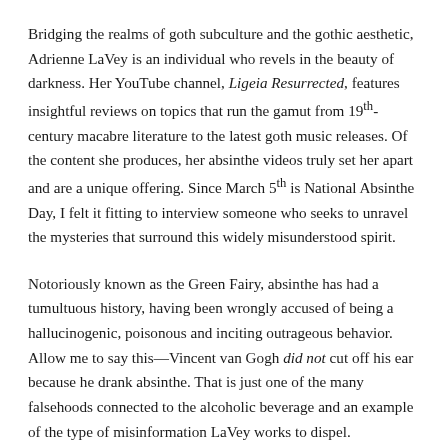Bridging the realms of goth subculture and the gothic aesthetic, Adrienne LaVey is an individual who revels in the beauty of darkness. Her YouTube channel, Ligeia Resurrected, features insightful reviews on topics that run the gamut from 19th-century macabre literature to the latest goth music releases. Of the content she produces, her absinthe videos truly set her apart and are a unique offering. Since March 5th is National Absinthe Day, I felt it fitting to interview someone who seeks to unravel the mysteries that surround this widely misunderstood spirit.
Notoriously known as the Green Fairy, absinthe has had a tumultuous history, having been wrongly accused of being a hallucinogenic, poisonous and inciting outrageous behavior. Allow me to say this—Vincent van Gogh did not cut off his ear because he drank absinthe. That is just one of the many falsehoods connected to the alcoholic beverage and an example of the type of misinformation LaVey works to dispel.